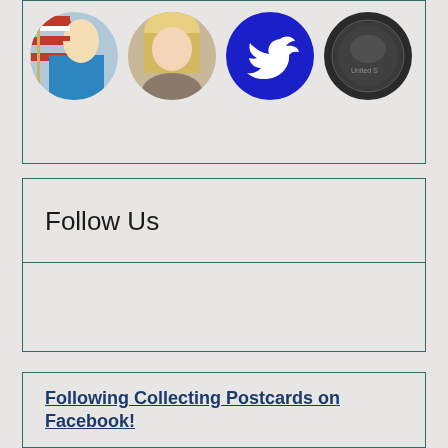[Figure (photo): Row of four circular profile/avatar images: (1) person with American flag and blue outfit, (2) blonde person, (3) blue Twitter bird logo circle, (4) dark circular coin/emblem with 'United S...' text]
Follow Us
Following Collecting Postcards on Facebook!